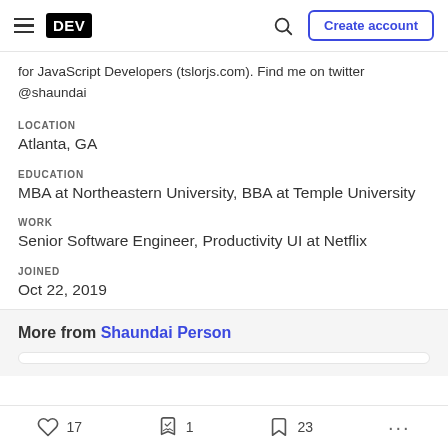DEV | Search | Create account
for JavaScript Developers (tslor.js.com). Find me on twitter @shaundai
LOCATION
Atlanta, GA
EDUCATION
MBA at Northeastern University, BBA at Temple University
WORK
Senior Software Engineer, Productivity UI at Netflix
JOINED
Oct 22, 2019
More from Shaundai Person
17  1  23  ...